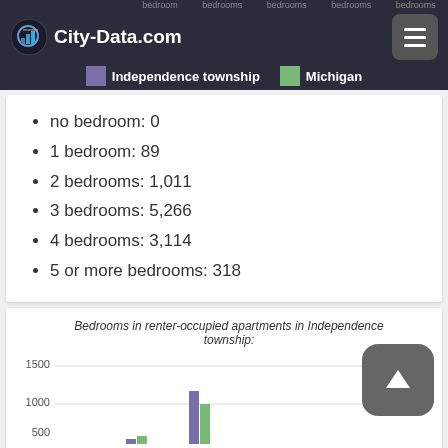City-Data.com | Independence township | Michigan
no bedroom: 0
1 bedroom: 89
2 bedrooms: 1,011
3 bedrooms: 5,266
4 bedrooms: 3,114
5 or more bedrooms: 318
[Figure (grouped-bar-chart): Bedrooms in renter-occupied apartments in Independence township:]